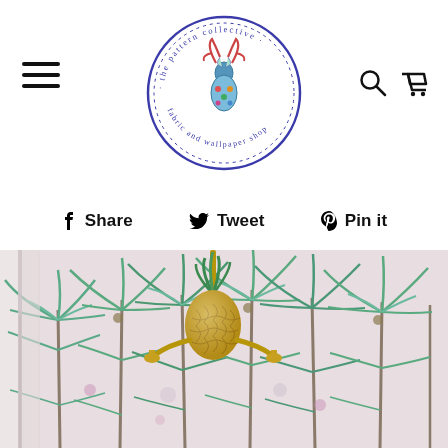[Figure (logo): The Pattern Collective - fabric and wallpaper shop circular logo with illustrated deer/antlers motif]
Share  Tweet  Pin it
[Figure (photo): Tropical palm tree wallpaper in pale pink/blush with green palms, with a gold pineapple chandelier/sconce in the foreground]